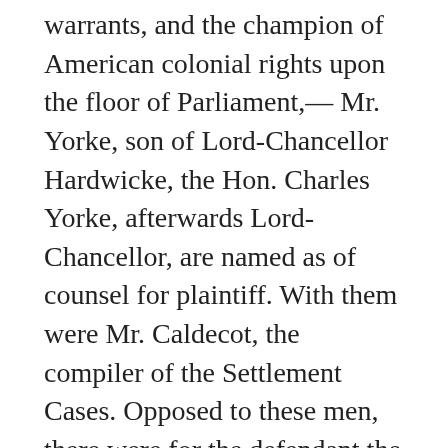warrants, and the champion of American colonial rights upon the floor of Parliament,—Mr. Yorke, son of Lord-Chancellor Hardwicke, the Hon. Charles Yorke, afterwards Lord-Chancellor, are named as of counsel for plaintiff. With them were Mr. Caldecot, the compiler of the Settlement Cases. Opposed to these men, there were for the defendant the names of Mr. Knowles, Mr. Perrot, and Mr. Sergeant Prime. Pratt and Yorke having occupied high political and judicial positions, their lives have been written, their characters have been portrayed and will be preserved. Who were these others deemed worthy to enter the lists and measure lances with them in this important trial at the bar, at—? Who